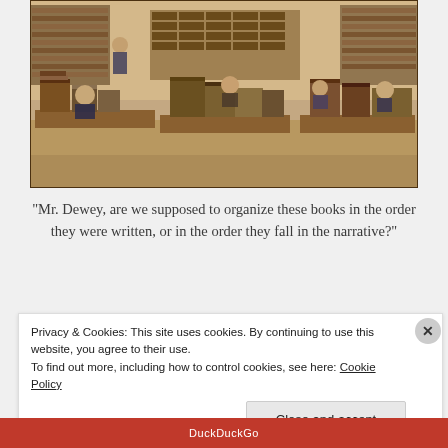[Figure (photo): Sepia-toned historical photograph of a busy library or book cataloging room with multiple workers sitting at desks surrounded by large stacks of books. Bookshelves and card catalogs visible in the background.]
“Mr. Dewey, are we supposed to organize these books in the order they were written, or in the order they fall in the narrative?”
Privacy & Cookies: This site uses cookies. By continuing to use this website, you agree to their use.
To find out more, including how to control cookies, see here: Cookie Policy